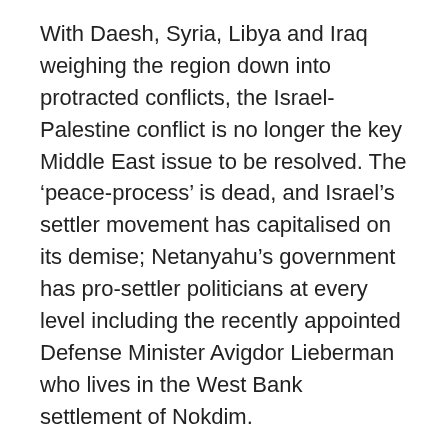With Daesh, Syria, Libya and Iraq weighing the region down into protracted conflicts, the Israel-Palestine conflict is no longer the key Middle East issue to be resolved. The ‘peace-process’ is dead, and Israel’s settler movement has capitalised on its demise; Netanyahu’s government has pro-settler politicians at every level including the recently appointed Defense Minister Avigdor Lieberman who lives in the West Bank settlement of Nokdim.
When resigning Defense Minister Moshe Ya’alon warned in May of “manifestations of extremism, violence and racism in Israeli society,” his message was decades too late. Thousands of Israelis converged at a Tel Aviv rally in April to support a solider who had executed an injured Palestinian in Hebron and the mood of the crowd was extreme, with one sign copying the Nazi SS slogan, “My honour is loyalty.” Also attending were members of Jewish